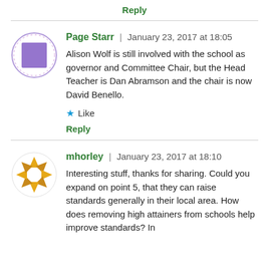Reply
[Figure (illustration): Purple square avatar inside a circle with decorative border for user Page Starr]
Page Starr | January 23, 2017 at 18:05
Alison Wolf is still involved with the school as governor and Committee Chair, but the Head Teacher is Dan Abramson and the chair is now David Benello.
Like
Reply
[Figure (illustration): Orange shutter/aperture style avatar icon for user mhorley]
mhorley | January 23, 2017 at 18:10
Interesting stuff, thanks for sharing. Could you expand on point 5, that they can raise standards generally in their local area. How does removing high attainers from schools help improve standards? In terms of to state to publicly open the property of